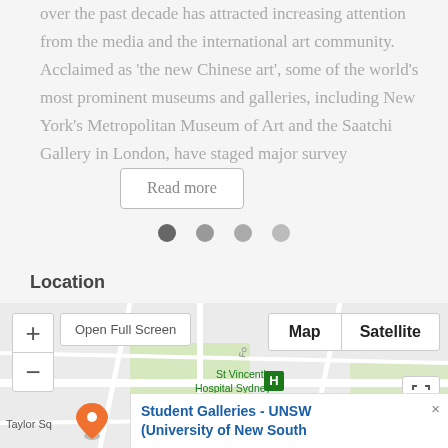over the past decade has attracted increasing attention from the media and the international art community. Acclaimed as 'the new Chinese art', some of the world's most prominent museums and galleries, including New York's Metropolitan Museum of Art and the Saatchi Gallery in London, have staged major survey
[Figure (other): Read more button — a rounded-border button with label 'Read more']
[Figure (other): Pagination dots — four circles, first darkest, rest lighter]
Location
[Figure (map): Google Map screenshot showing St Vincent's Hospital Sydney area with zoom controls, Open Full Screen button, Map/Satellite toggle, and an info popup for Student Galleries - UNSW (University of New South)]